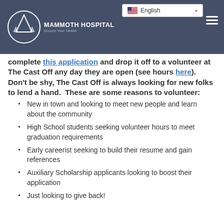Mammoth Hospital — Ensure Your Health
complete this application and drop it off to a volunteer at The Cast Off any day they are open (see hours here).  Don't be shy, The Cast Off is always looking for new folks to lend a hand.  These are some reasons to volunteer:
New in town and looking to meet new people and learn about the community
High School students seeking volunteer hours to meet graduation requirements
Early careerist seeking to build their resume and gain references
Auxiliary Scholarship applicants looking to boost their application
Just looking to give back!